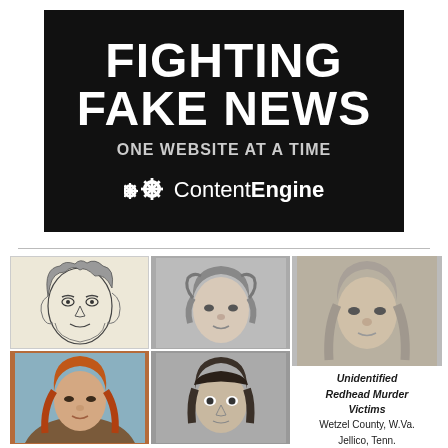[Figure (logo): Black banner with white bold text reading FIGHTING FAKE NEWS ONE WEBSITE AT A TIME and ContentEngine logo with gear icons]
[Figure (photo): Grid of four face images: top-left pencil sketch of woman with curly hair, top-right black-and-white photo-fit of young girl with curly hair, bottom-left color photo of middle-aged woman with reddish hair, bottom-right black-and-white forensic composite of person with dark hair]
[Figure (illustration): Forensic composite image of young girl with straight hair, labeled as Unidentified Redhead Murder Victims]
Unidentified Redhead Murder Victims
Wetzel County, W.Va.
Jellico, Tenn.